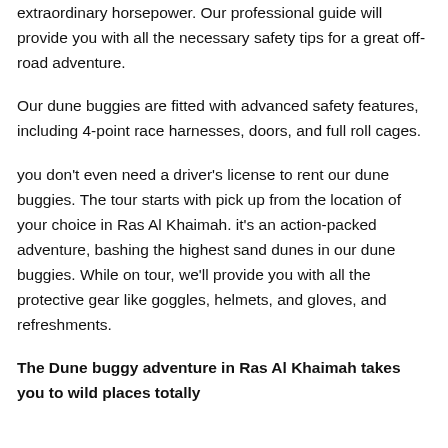extraordinary horsepower. Our professional guide will provide you with all the necessary safety tips for a great off-road adventure.
Our dune buggies are fitted with advanced safety features, including 4-point race harnesses, doors, and full roll cages.
you don't even need a driver's license to rent our dune buggies. The tour starts with pick up from the location of your choice in Ras Al Khaimah. it's an action-packed adventure, bashing the highest sand dunes in our dune buggies. While on tour, we'll provide you with all the protective gear like goggles, helmets, and gloves, and refreshments.
The Dune buggy adventure in Ras Al Khaimah takes you to wild places totally